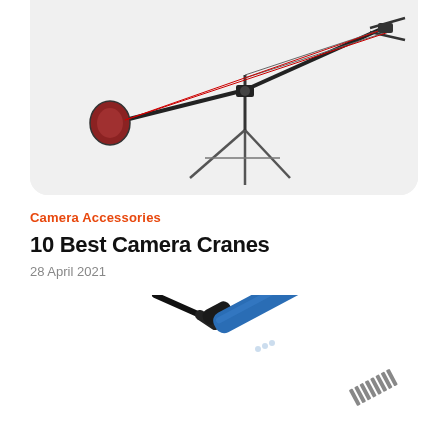[Figure (photo): A camera crane (jib) on a tripod with counterweight, shown against a light gray background with rounded bottom corners]
Camera Accessories
10 Best Camera Cranes
28 April 2021
[Figure (photo): A blue condenser microphone or boom pole shown diagonally, with a cable at the top end and ribbed grip at the bottom, against a white background]